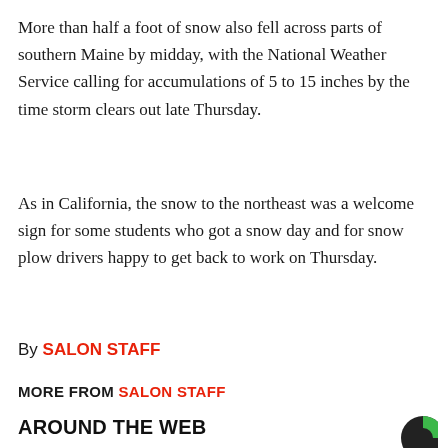More than half a foot of snow also fell across parts of southern Maine by midday, with the National Weather Service calling for accumulations of 5 to 15 inches by the time storm clears out late Thursday.
As in California, the snow to the northeast was a welcome sign for some students who got a snow day and for snow plow drivers happy to get back to work on Thursday.
By SALON STAFF
MORE FROM SALON STAFF
AROUND THE WEB